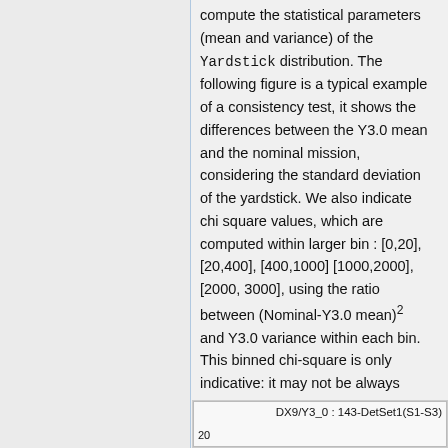compute the statistical parameters (mean and variance) of the Yardstick distribution. The following figure is a typical example of a consistency test, it shows the differences between the Y3.0 mean and the nominal mission, considering the standard deviation of the yardstick. We also indicate chi square values, which are computed within larger bin : [0,20], [20,400], [400,1000] [1000,2000], [2000, 3000], using the ratio between (Nominal-Y3.0 mean)² and Y3.0 variance within each bin. This binned chi-square is only indicative: it may not be always significant, since data variations sometimes disappear as we average them in a bin, the mean is then at the same scale as the yardstick one.
[Figure (other): Partial view of a figure labeled DX9/Y3_0 : 143-DetSet1(S1-S3) with y-axis showing value 20 at bottom left]